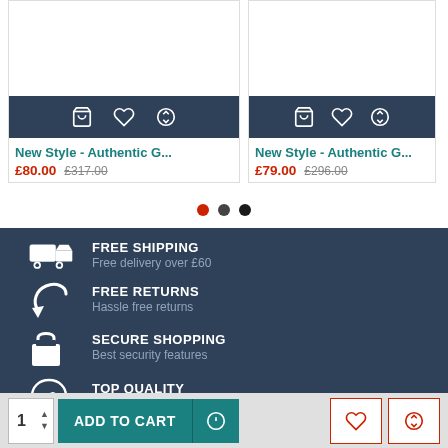[Figure (screenshot): E-commerce product listing page section showing two product cards with title 'New Style - Authentic G...' and prices, plus feature icons for Free Shipping, Free Returns, Secure Shopping, Top Quality, and an add to cart bar at bottom.]
New Style - Authentic G...
£80.00  £317.00
New Style - Authentic G...
£79.00  £296.00
FREE SHIPPING
Free delivery over £60
FREE RETURNS
Hassle free returns
SECURE SHOPPING
Best security features
TOP QUALITY
Products of top quality
1  ADD TO CART